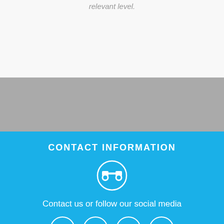relevant level.
[Figure (illustration): Gray background section]
CONTACT INFORMATION
[Figure (illustration): Binoculars icon in a white circle on blue background]
Contact us or follow our social media
[Figure (illustration): Social media icons: Facebook, Twitter, YouTube, Vimeo — white circles on blue background]